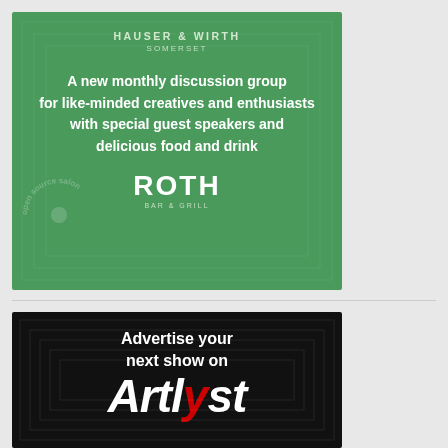[Figure (infographic): Green advertisement for Hauser & Wirth Somerset featuring ROTH Bar & Grill. Text reads: HAUSER & WIRTH / SOMERSET / A new monthly discussion group for like-minded creatives and enthusiasts with special guest speakers and delicious food and drink / ROTH / BAR & GRILL. Circular watermark text 'open source salon' visible at bottom left.]
[Figure (infographic): Black advertisement for Artlyst showing 'Advertise your next show on Artlyst' with large bold white text and red letter 'v'. Concentric rectangle design in background.]